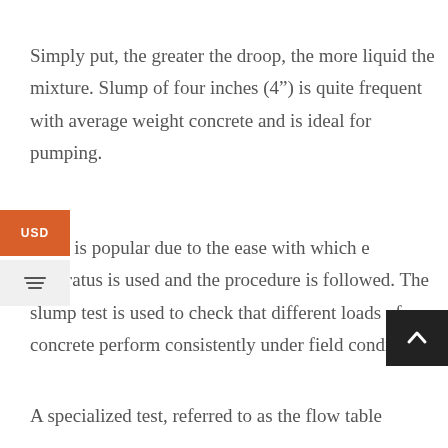Simply put, the greater the droop, the more liquid the mixture. Slump of four inches (4”) is quite frequent with average weight concrete and is ideal for pumping.
e test is popular due to the ease with which e apparatus is used and the procedure is followed. The slump test is used to check that different loads of concrete perform consistently under field conditions.
A specialized test, referred to as the flow table